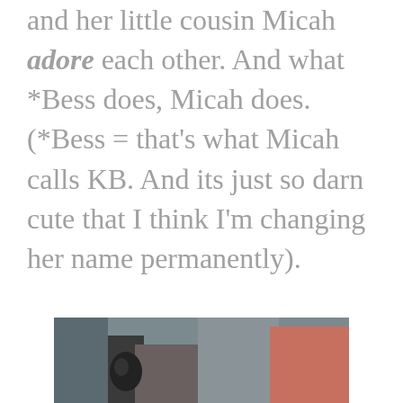and her little cousin Micah adore each other. And what *Bess does, Micah does. (*Bess = that's what Micah calls KB. And its just so darn cute that I think I'm changing her name permanently).
[Figure (photo): Partial view of two people outdoors, bottom portion of image visible]